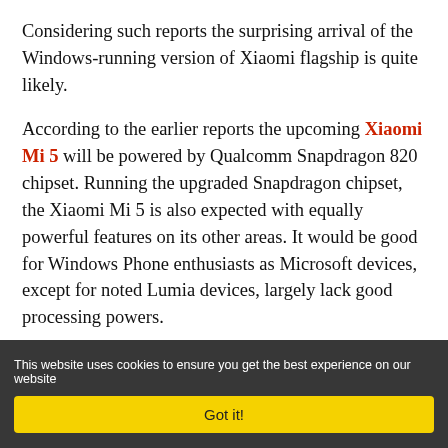Considering such reports the surprising arrival of the Windows-running version of Xiaomi flagship is quite likely.
According to the earlier reports the upcoming Xiaomi Mi 5 will be powered by Qualcomm Snapdragon 820 chipset. Running the upgraded Snapdragon chipset, the Xiaomi Mi 5 is also expected with equally powerful features on its other areas. It would be good for Windows Phone enthusiasts as Microsoft devices, except for noted Lumia devices, largely lack good processing powers.
This website uses cookies to ensure you get the best experience on our website
Got it!